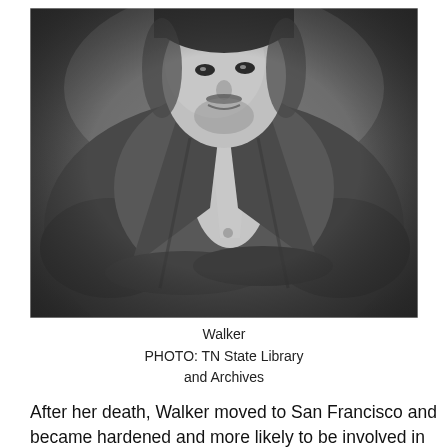[Figure (photo): Black and white photograph of Walker, a man in a dark suit and white shirt/cravat, arms crossed, looking slightly to the side. Historical portrait photograph.]
Walker
PHOTO: TN State Library
and Archives
After her death, Walker moved to San Francisco and became hardened and more likely to be involved in conflict (he got in two duels, for instance). He also became convinced that